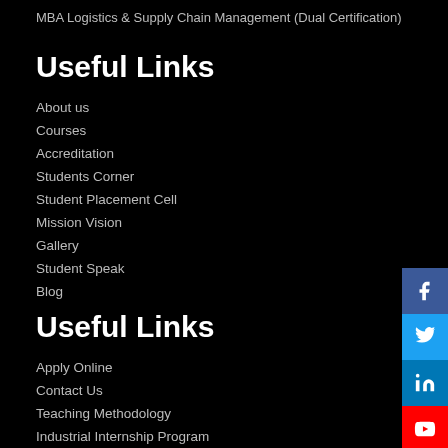MBA Logistics & Supply Chain Management (Dual Certification)
Useful Links
About us
Courses
Accreditation
Students Corner
Student Placement Cell
Mission Vision
Gallery
Student Speak
Blog
Useful Links
Apply Online
Contact Us
Teaching Methodology
Industrial Internship Program